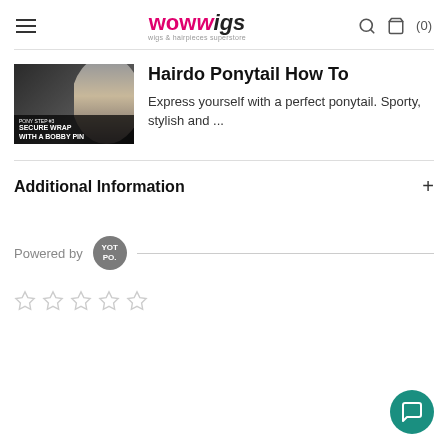wowwigs — wigs & hairpieces superstore
[Figure (screenshot): Video thumbnail showing a person styling hair with text overlay: PONY STEP #3 SECURE WRAP WITH A BOBBY PIN]
Hairdo Ponytail How To
Express yourself with a perfect ponytail. Sporty, stylish and ...
Additional Information
Powered by YOTPO.
[Figure (other): Five empty star rating icons]